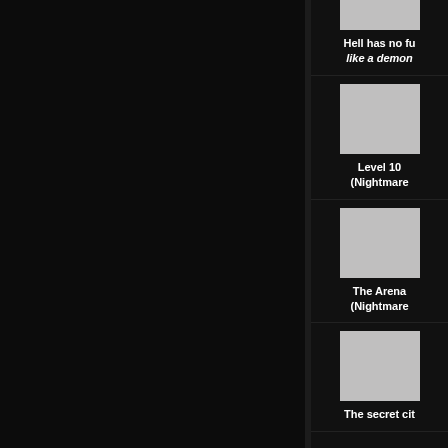[Figure (screenshot): Dark UI interface showing a list of game levels/achievements. Left side is a large dark panel. Right column shows card items with gray placeholder images and white text labels. Partially visible top card shows text 'Hell has no fu...' and 'like a demon'. Second card shows 'Level 10 (Nightmare'. Third card shows 'The Arena (Nightmare'. Fourth card (partially cut) shows 'The secret cit'.]
Hell has no fu
like a demon
Level 10
(Nightmare
The Arena
(Nightmare
The secret cit